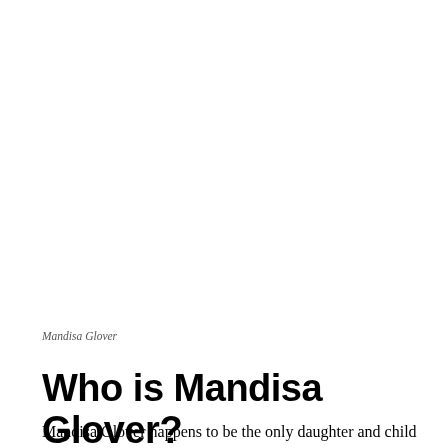Mandisa Glover
Who is Mandisa Glover?
Mandisa Glover happens to be the only daughter and child of